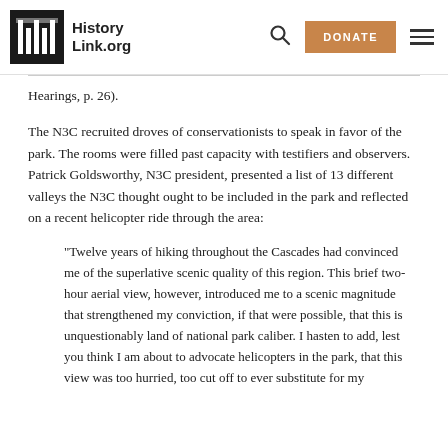HistoryLink.org
Hearings, p. 26).
The N3C recruited droves of conservationists to speak in favor of the park. The rooms were filled past capacity with testifiers and observers. Patrick Goldsworthy, N3C president, presented a list of 13 different valleys the N3C thought ought to be included in the park and reflected on a recent helicopter ride through the area:
"Twelve years of hiking throughout the Cascades had convinced me of the superlative scenic quality of this region. This brief two-hour aerial view, however, introduced me to a scenic magnitude that strengthened my conviction, if that were possible, that this is unquestionably land of national park caliber. I hasten to add, lest you think I am about to advocate helicopters in the park, that this view was too hurried, too cut off to ever substitute for my